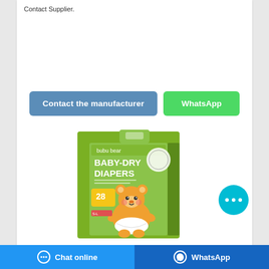Contact Supplier.
[Figure (other): Two buttons: 'Contact the manufacturer' (blue/teal) and 'WhatsApp' (green)]
[Figure (photo): Bubu Bear Baby-Dry Diapers product box, green packaging with cartoon bear, 28 count]
[Figure (other): Cyan chat bubble button with three dots]
Chat online | WhatsApp